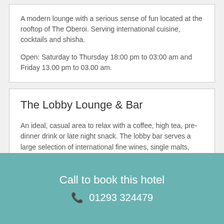A modern lounge with a serious sense of fun located at the rooftop of The Oberoi. Serving international cuisine, cocktails and shisha.
Open: Saturday to Thursday 18:00 pm to 03:00 am and Friday 13.00 pm to 03.00 am.
The Lobby Lounge & Bar
An ideal, casual area to relax with a coffee, high tea, pre-dinner drink or late night snack. The lobby bar serves a large selection of international fine wines, single malts, plus, classic and contemporary cocktails.
Call to book this hotel
01293 324479